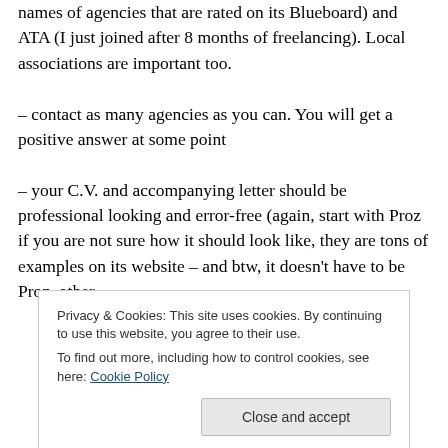names of agencies that are rated on its Blueboard) and ATA (I just joined after 8 months of freelancing). Local associations are important too.
– contact as many agencies as you can. You will get a positive answer at some point
– your C.V. and accompanying letter should be professional looking and error-free (again, start with Proz if you are not sure how it should look like, they are tons of examples on its website – and btw, it doesn't have to be Proz, other
Privacy & Cookies: This site uses cookies. By continuing to use this website, you agree to their use.
To find out more, including how to control cookies, see here: Cookie Policy
Close and accept